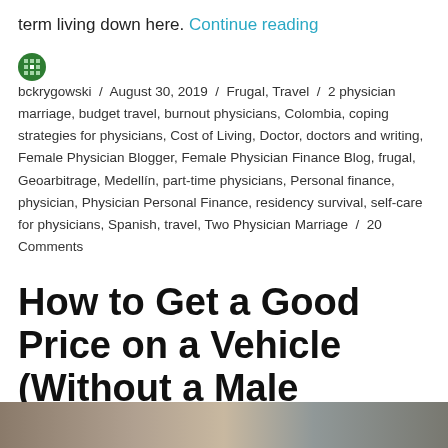term living down here. Continue reading
bckrygowski / August 30, 2019 / Frugal, Travel / 2 physician marriage, budget travel, burnout physicians, Colombia, coping strategies for physicians, Cost of Living, Doctor, doctors and writing, Female Physician Blogger, Female Physician Finance Blog, frugal, Geoarbitrage, Medellín, part-time physicians, Personal finance, physician, Physician Personal Finance, residency survival, self-care for physicians, Spanish, travel, Two Physician Marriage / 20 Comments
How to Get a Good Price on a Vehicle (Without a Male Accompanying You)
[Figure (photo): Partial photo strip at bottom of page showing what appears to be vehicles or outdoor scene]